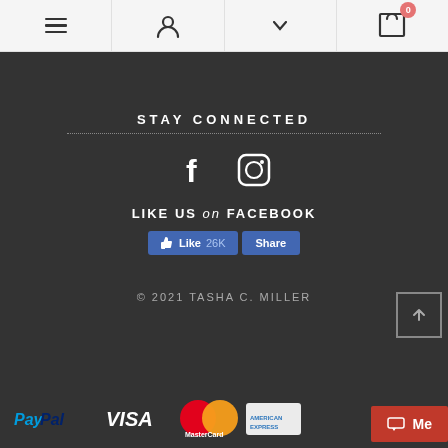[Figure (screenshot): Website navigation bar with hamburger menu, person/account icon, chevron dropdown, and cart icon with badge showing 0]
STAY CONNECTED
[Figure (infographic): Facebook and Instagram social media icons (white)]
LIKE US on FACEBOOK
[Figure (screenshot): Facebook Like button showing 26K likes and Share button]
© 2021 TASHA C. MILLER
[Figure (infographic): Payment method icons: PayPal, Visa, MasterCard, American Express]